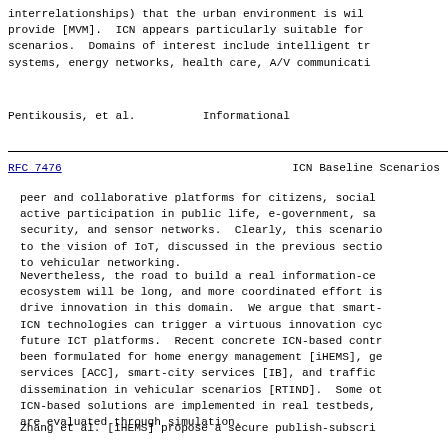interrelationships) that the urban environment is will provide [MVM].  ICN appears particularly suitable for scenarios.  Domains of interest include intelligent tr systems, energy networks, health care, A/V communicati
Pentikousis, et al.          Informational
RFC 7476                    ICN Baseline Scenarios
peer and collaborative platforms for citizens, social active participation in public life, e-government, sa security, and sensor networks.  Clearly, this scenario to the vision of IoT, discussed in the previous sectio to vehicular networking.
Nevertheless, the road to build a real information-ce ecosystem will be long, and more coordinated effort is drive innovation in this domain.  We argue that smart- ICN technologies can trigger a virtuous innovation cyc future ICT platforms.  Recent concrete ICN-based contr been formulated for home energy management [iHEMS], ge services [ACC], smart-city services [IB], and traffic dissemination in vehicular scenarios [RTIND].  Some ot ICN-based solutions are implemented in real testbeds, are evaluated through simulation.
Zhang et al. [iHEMS] propose a secure publish-subscri